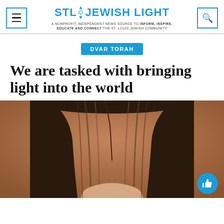STL Jewish Light — A nonprofit, independent news source to inform, inspire, educate and connect the St. Louis Jewish community
DVAR TORAH
We are tasked with bringing light into the world
[Figure (photo): Portrait photo of a woman with long dark brown hair against a warm brown/tan background, top of head and hair visible]